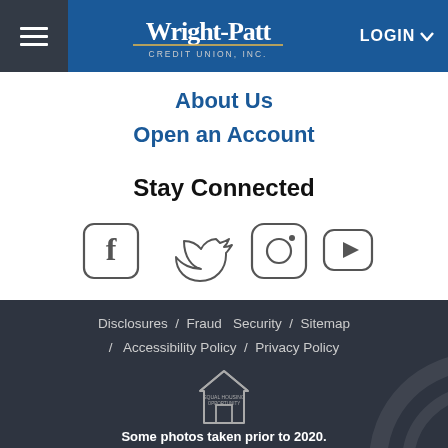Wright-Patt Credit Union, Inc. — LOGIN
About Us
Open an Account
Stay Connected
[Figure (illustration): Social media icons: Facebook, Twitter, Instagram, YouTube]
Disclosures / Fraud Security / Sitemap / Accessibility Policy / Privacy Policy
[Figure (logo): Equal Housing Opportunity logo]
Some photos taken prior to 2020.
Have a Question?